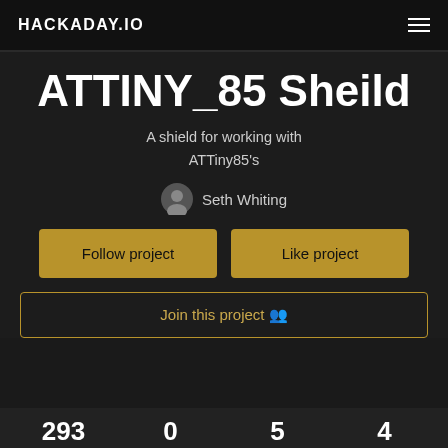HACKADAY.IO
ATTINY_85 Sheild
A shield for working with ATTiny85's
Seth Whiting
Follow project
Like project
Join this project 🧑
293	0	5	4